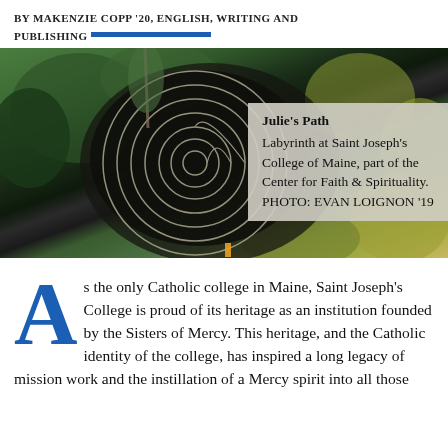BY MAKENZIE COPP '20, ENGLISH, WRITING AND PUBLISHING
[Figure (photo): Aerial view of Julie's Path Labyrinth at Saint Joseph's College of Maine, surrounded by trees, with spiral path visible from above.]
Julie's Path Labyrinth at Saint Joseph's College of Maine, part of the Center for Faith & Spirituality. PHOTO: EVAN LOIGNON '19
As the only Catholic college in Maine, Saint Joseph's College is proud of its heritage as an institution founded by the Sisters of Mercy. This heritage, and the Catholic identity of the college, has inspired a long legacy of mission work and the instillation of a Mercy spirit into all those